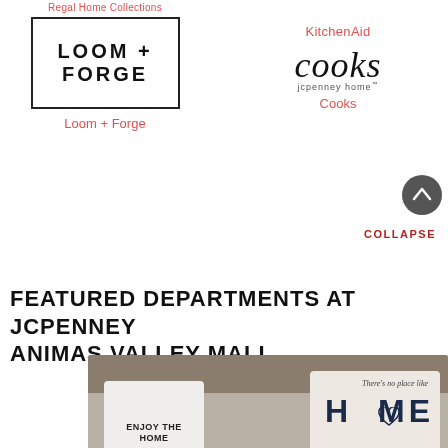Regal Home Collections
[Figure (logo): Loom + Forge logo — bold sans-serif text in a rectangular border]
Loom + Forge
KitchenAid
[Figure (logo): Cooks jcpenney home logo — italic serif cooks text with jcpenney home subtitle]
Cooks
COLLAPSE
FEATURED DEPARTMENTS AT JCPENNEY ANIMAS VALLEY MALL
[Figure (photo): Photo of decorative throw pillows on a sofa — one white pillow reads ENJOY THE and another reads There's no place like HOME with a heart]